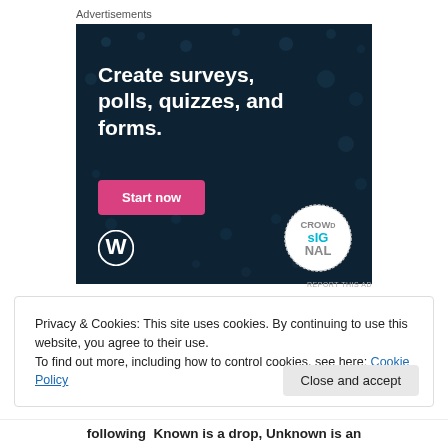Advertisements
[Figure (illustration): Advertisement banner for Crowdsignal: dark navy background with polka dot pattern. Large white bold text reads 'Create surveys, polls, quizzes, and forms.' A pink 'Start now' button. WordPress logo bottom-left, Crowdsignal logo bottom-right.]
REPORT THIS AD
Privacy & Cookies: This site uses cookies. By continuing to use this website, you agree to their use.
To find out more, including how to control cookies, see here: Cookie Policy
following  Known is a drop, Unknown is an